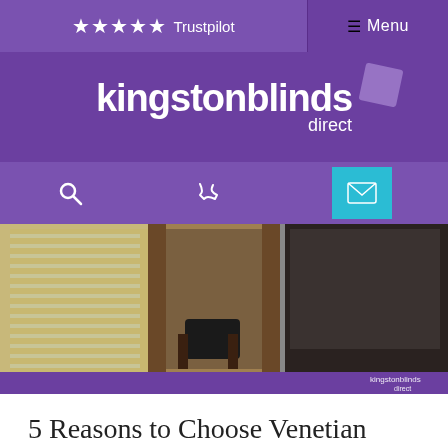★★★★★ Trustpilot   ☰ Menu
[Figure (logo): kingstonblinds direct logo in white text on purple background with small diamond shape]
[Figure (infographic): Navigation bar with search icon, phone icon, and teal email button on purple background]
[Figure (photo): Interior room scene showing venetian blinds on windows with curtains and modern chair, with kingstonblinds direct watermark]
5 Reasons to Choose Venetian